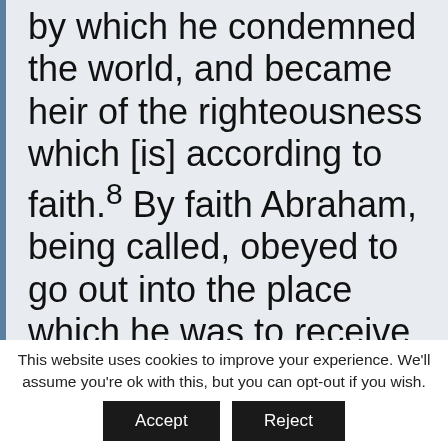by which he condemned the world, and became heir of the righteousness which [is] according to faith.⁸ By faith Abraham, being called, obeyed to go out into the place which he was to receive for an inheritance, and went out,
This website uses cookies to improve your experience. We'll assume you're ok with this, but you can opt-out if you wish.